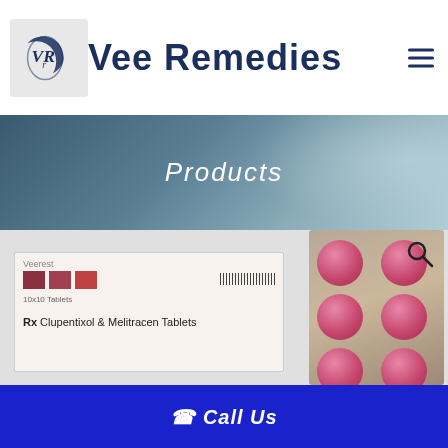Vee Remedies
Products
[Figure (photo): Product photo showing a white medicine box labeled 'Veerest' with 'Rx Clupentixol & Melitracen Tablets' text and a blister pack with pink/red round tablets]
📞 Call Us
⊙ whatsapp